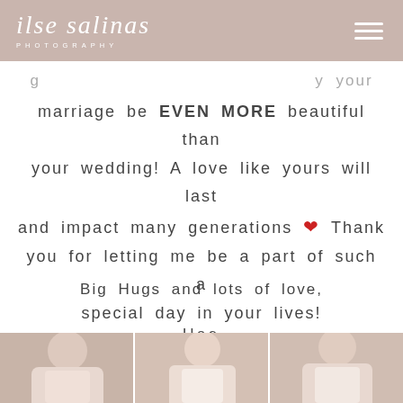ilse salinas PHOTOGRAPHY
g...y your
marriage be EVEN MORE beautiful than
your wedding! A love like yours will last
and impact many generations ❤ Thank
you for letting me be a part of such a
special day in your lives!
Big Hugs and lots of love,
Ilse
[Figure (photo): Three photos of women in light/nude colored dresses, partial view at bottom of page]